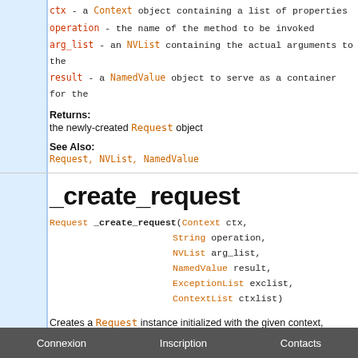ctx - a Context object containing a list of properties
operation - the name of the method to be invoked
arg_list - an NVList containing the actual arguments to the
result - a NamedValue object to serve as a container for the
Returns: the newly-created Request object
See Also: Request, NVList, NamedValue
_create_request
Request _create_request(Context ctx, String operation, NVList arg_list, NamedValue result, ExceptionList exclist, ContextList ctxlist)
Creates a Request instance initialized with the given context, arguments, container for the method's return value, list of po of context strings needing to be resolved.
Parameters:
Connexion    Inscription    Contacts